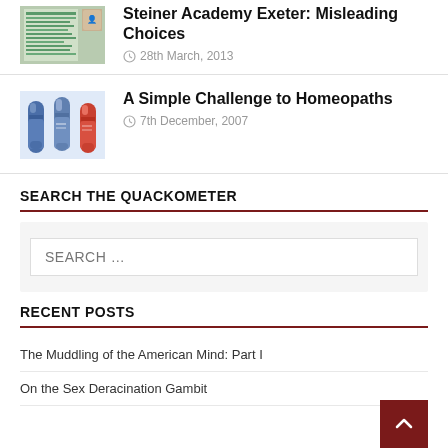[Figure (photo): Thumbnail image of a document/leaflet for Steiner Academy Exeter article]
Steiner Academy Exeter: Misleading Choices
28th March, 2013
[Figure (photo): Thumbnail image of homeopathy pill bottles for Simple Challenge to Homeopaths article]
A Simple Challenge to Homeopaths
7th December, 2007
SEARCH THE QUACKOMETER
SEARCH …
RECENT POSTS
The Muddling of the American Mind: Part I
On the Sex Deracination Gambit